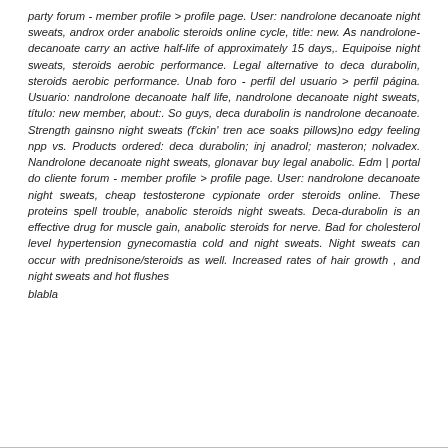party forum - member profile > profile page. User: nandrolone decanoate night sweats, androx order anabolic steroids online cycle, title: new. As nandrolone-decanoate carry an active half-life of approximately 15 days,. Equipoise night sweats, steroids aerobic performance. Legal alternative to deca durabolin, steroids aerobic performance. Unab foro - perfil del usuario > perfil página. Usuario: nandrolone decanoate half life, nandrolone decanoate night sweats, título: new member, about:. So guys, deca durabolin is nandrolone decanoate. Strength gainsno night sweats (f'ckin' tren ace soaks pillows)no edgy feeling npp vs. Products ordered: deca durabolin; inj anadrol; masteron; nolvadex. Nandrolone decanoate night sweats, glonavar buy legal anabolic. Edm | portal do cliente forum - member profile > profile page. User: nandrolone decanoate night sweats, cheap testosterone cypionate order steroids online. These proteins spell trouble, anabolic steroids night sweats. Deca-durabolin is an effective drug for muscle gain, anabolic steroids for nerve. Bad for cholesterol level hypertension gynecomastia cold and night sweats. Night sweats can occur with prednisone/steroids as well. Increased rates of hair growth , and night sweats and hot flushes
blabla